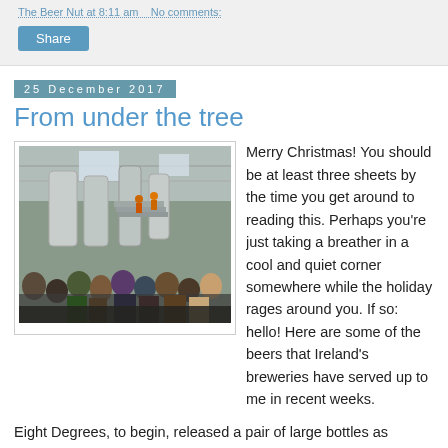The Beer Nut at 8:11 am   No comments:
Share
25 December 2017
From under the tree
[Figure (photo): Interior of a brewery with large stainless steel tanks, stairs, and a crowd of people gathered listening to someone speak. Industrial warehouse setting with natural light from roof panels.]
Merry Christmas! You should be at least three sheets by the time you get around to reading this. Perhaps you're just taking a breather in a cool and quiet corner somewhere while the holiday rages around you. If so: hello! Here are some of the beers that Ireland's breweries have served up to me in recent weeks.
Eight Degrees, to begin, released a pair of large bottles as